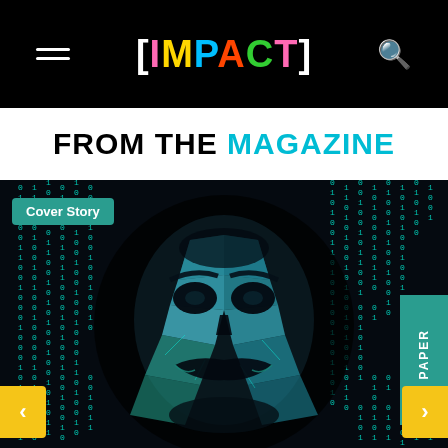[IMPACT]
FROM THE MAGAZINE
[Figure (photo): Dark background with falling binary code (green/cyan 0s and 1s matrix style), featuring a Guy Fawkes / Anonymous mask in teal geometric fractal design in the center. Badge reading 'Cover Story' on top left. A teal 'PAPER' tab on the right edge. Yellow navigation arrows on left and right sides.]